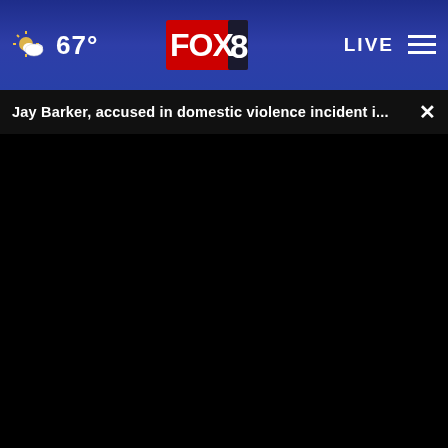67° FOX 8 LIVE
Jay Barker, accused in domestic violence incident i...
[Figure (screenshot): Black video player area with progress bar at bottom showing 00:00, play button, mute button, caption button, and fullscreen button]
[Figure (screenshot): Thumbnail strip showing a partially visible image with blue overlay bar reading 'For the best reviews, go to']
GMR Web Team
Get recommendations on what will be best for y gent care practice.